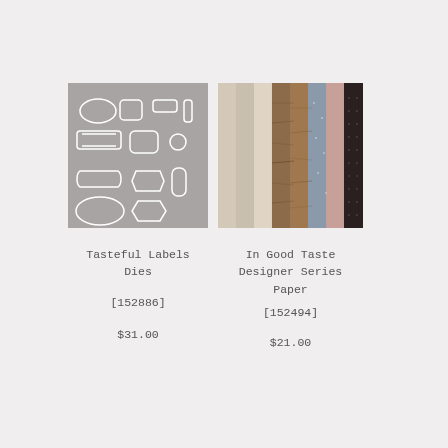[Figure (photo): Tasteful Labels Dies product image on grey background showing various die cut label shapes in white outlines]
[Figure (photo): In Good Taste Designer Series Paper product image showing fanned out paper sheets with wood, marble, lace, and floral textures]
Tasteful Labels Dies
[152886]
$31.00
In Good Taste Designer Series Paper
[152494]
$21.00